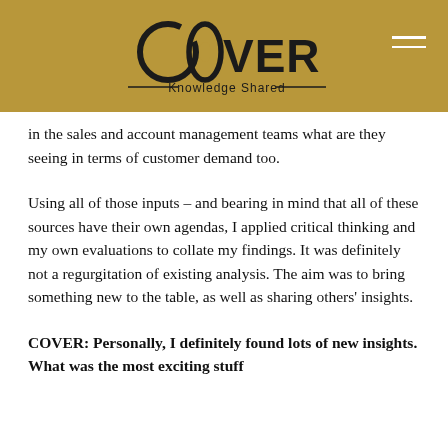COVER Knowledge Shared
in the sales and account management teams what are they seeing in terms of customer demand too.
Using all of those inputs – and bearing in mind that all of these sources have their own agendas, I applied critical thinking and my own evaluations to collate my findings. It was definitely not a regurgitation of existing analysis. The aim was to bring something new to the table, as well as sharing others' insights.
COVER: Personally, I definitely found lots of new insights. What was the most exciting stuff